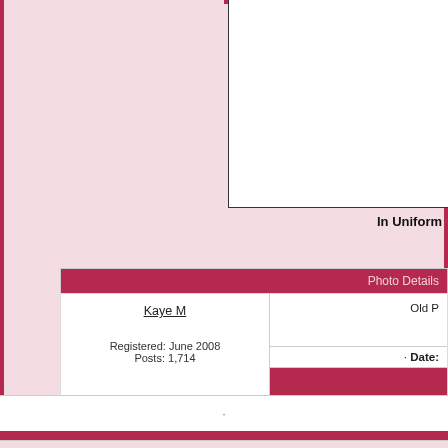[Figure (photo): White rectangular photo box, partially visible, representing an image placeholder]
In Uniform
|  | Photo Details |
| --- | --- |
| Kaye M

Registered: June 2008
Posts: 1,714 | Old ... |
|  | · Date: |
|  |  |
·